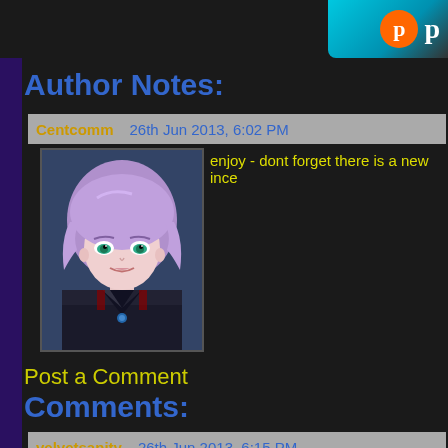[Figure (logo): Top-right logo with teal/cyan gradient background, orange circle with 'p' letter and white 'p' text beside it]
Author Notes:
Centcomm   26th Jun 2013, 6:02 PM
[Figure (illustration): Anime-style character with purple hair and green eyes wearing dark uniform]
enjoy - dont forget there is a new ince
Post a Comment
Comments:
velvetsanity   26th Jun 2013, 6:15 PM
[Figure (photo): User avatar photo of a person with dark hair against a fiery background]
Ada's right, I'm thinking...